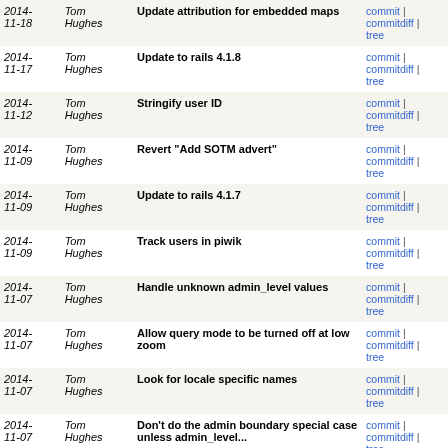| Date | Author | Message | Links |
| --- | --- | --- | --- |
| 2014-11-18 | Tom Hughes | Update attribution for embedded maps | commit | commitdiff | tree |
| 2014-11-17 | Tom Hughes | Update to rails 4.1.8 | commit | commitdiff | tree |
| 2014-11-12 | Tom Hughes | Stringify user ID | commit | commitdiff | tree |
| 2014-11-09 | Tom Hughes | Revert "Add SOTM advert" | commit | commitdiff | tree |
| 2014-11-09 | Tom Hughes | Update to rails 4.1.7 | commit | commitdiff | tree |
| 2014-11-09 | Tom Hughes | Track users in piwik | commit | commitdiff | tree |
| 2014-11-07 | Tom Hughes | Handle unknown admin_level values | commit | commitdiff | tree |
| 2014-11-07 | Tom Hughes | Allow query mode to be turned off at low zoom | commit | commitdiff | tree |
| 2014-11-07 | Tom Hughes | Look for locale specific names | commit | commitdiff | tree |
| 2014-11-07 | Tom Hughes | Don't do the admin boundary special case unless admin_level... | commit | commitdiff | tree |
| 2014-11-07 | Tom Hughes | Merge branch 'overpass' | commit | commitdiff | tree |
| 2014-11-05 | Tom Hughes | Don't enable query mode when loading a query URL | commit | commitdiff | tree |
| 2014-11-05 | Tom Hughes | Add comments_feed action to various filters | commit | commitdiff | tree |
| 2014- | Tom | Allow query mode to be disabled | commit |